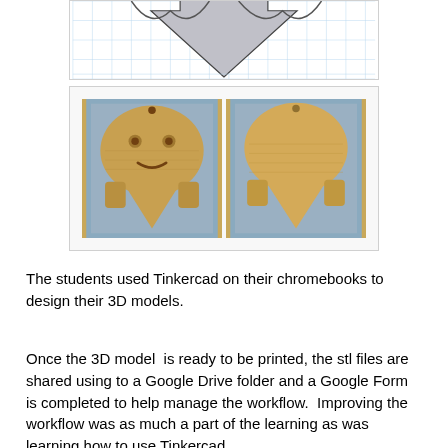[Figure (screenshot): Top portion of a Tinkercad 3D design view showing a pointed/arrow shape on a blue grid background]
[Figure (photo): Two photos side by side of 3D printed models — tan/yellow colored objects resembling a face/creature shape, front view and back view]
The students used Tinkercad on their chromebooks to design their 3D models.
Once the 3D model  is ready to be printed, the stl files are  shared using to a Google Drive folder and a Google Form is completed to help manage the workflow.  Improving the workflow was as much a part of the learning as was  learning how to use Tinkercad